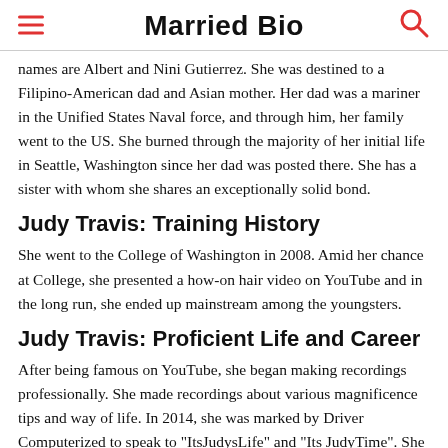Married Bio
names are Albert and Nini Gutierrez. She was destined to a Filipino-American dad and Asian mother. Her dad was a mariner in the Unified States Naval force, and through him, her family went to the US. She burned through the majority of her initial life in Seattle, Washington since her dad was posted there. She has a sister with whom she shares an exceptionally solid bond.
Judy Travis: Training History
She went to the College of Washington in 2008. Amid her chance at College, she presented a how-on hair video on YouTube and in the long run, she ended up mainstream among the youngsters.
Judy Travis: Proficient Life and Career
After being famous on YouTube, she began making recordings professionally. She made recordings about various magnificence tips and way of life. In 2014, she was marked by Driver Computerized to speak to "ItsJudysLife" and "Its JudyTime". She